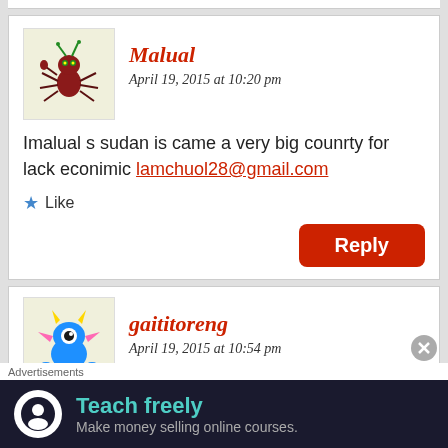Malual
April 19, 2015 at 10:20 pm
Imalual s sudan is came a very big counrty for lack econimic lamchuol28@gmail.com
Like
Reply
gaititoreng
April 19, 2015 at 10:54 pm
Thank John for your rospond on this bias
Advertisements
Teach freely
Make money selling online courses.